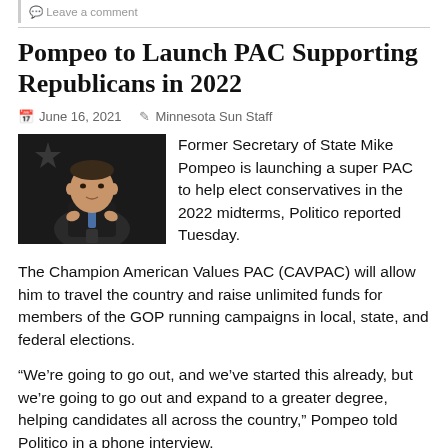Leave a comment
Pompeo to Launch PAC Supporting Republicans in 2022
June 16, 2021   Minnesota Sun Staff
[Figure (photo): Photo of Mike Pompeo speaking at a podium against a dark background with a star visible]
Former Secretary of State Mike Pompeo is launching a super PAC to help elect conservatives in the 2022 midterms, Politico reported Tuesday.
The Champion American Values PAC (CAVPAC) will allow him to travel the country and raise unlimited funds for members of the GOP running campaigns in local, state, and federal elections.
“We’re going to go out, and we’ve started this already, but we’re going to go out and expand to a greater degree, helping candidates all across the country,” Pompeo told Politico in a phone interview.